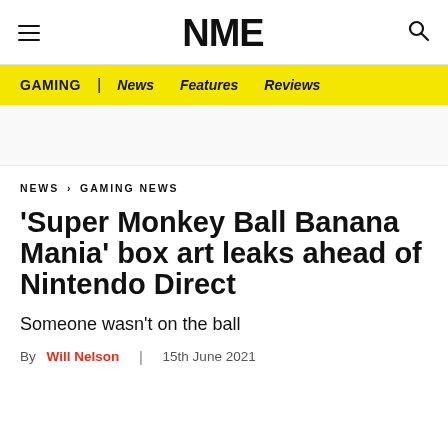NME
GAMING | News Features Reviews
NEWS › GAMING NEWS
'Super Monkey Ball Banana Mania' box art leaks ahead of Nintendo Direct
Someone wasn't on the ball
By Will Nelson | 15th June 2021